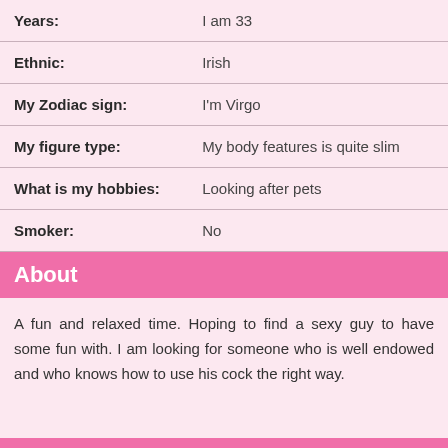| Years: | I am 33 |
| Ethnic: | Irish |
| My Zodiac sign: | I'm Virgo |
| My figure type: | My body features is quite slim |
| What is my hobbies: | Looking after pets |
| Smoker: | No |
About
A fun and relaxed time. Hoping to find a sexy guy to have some fun with. I am looking for someone who is well endowed and who knows how to use his cock the right way.